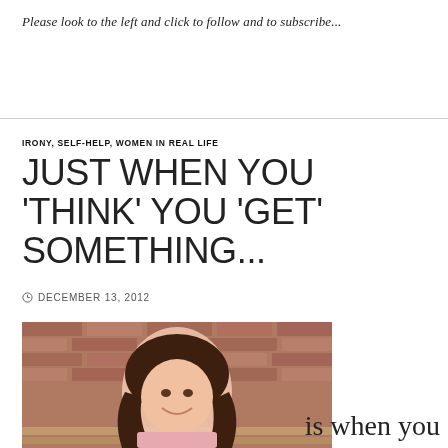Please look to the left and click to follow and to subscribe...
IRONY, SELF-HELP, WOMEN IN REAL LIFE
JUST WHEN YOU 'THINK' YOU 'GET' SOMETHING...
DECEMBER 13, 2012
[Figure (photo): A smiling woman with long brown hair wearing a pink top, sitting in front of a brick wall. Partial view of a wooden bench is visible.]
is when you